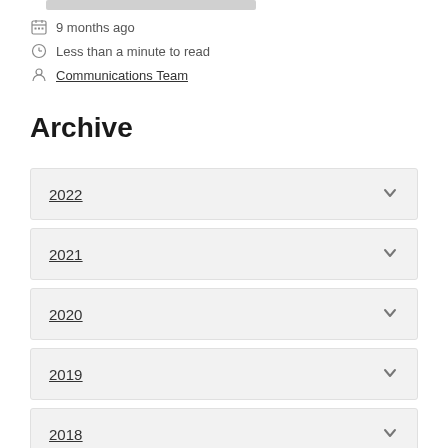9 months ago
Less than a minute to read
Communications Team
Archive
2022
2021
2020
2019
2018
2017